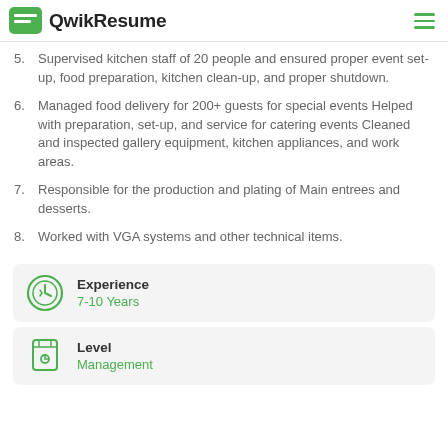QwikResume
5. Supervised kitchen staff of 20 people and ensured proper event set-up, food preparation, kitchen clean-up, and proper shutdown.
6. Managed food delivery for 200+ guests for special events Helped with preparation, set-up, and service for catering events Cleaned and inspected gallery equipment, kitchen appliances, and work areas.
7. Responsible for the production and plating of Main entrees and desserts.
8. Worked with VGA systems and other technical items.
Experience
7-10 Years
Level
Management